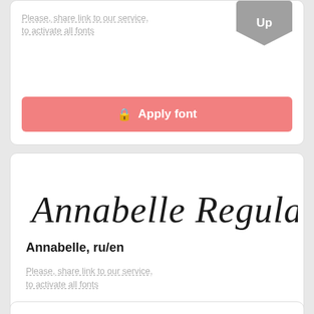Please, share link to our service, to activate all fonts
Apply font
[Figure (illustration): Annabelle Regular shown in script/cursive font style]
Annabelle, ru/en
Please, share link to our service, to activate all fonts
Apply font
[Figure (illustration): Invitation Script font preview in decorative script style]